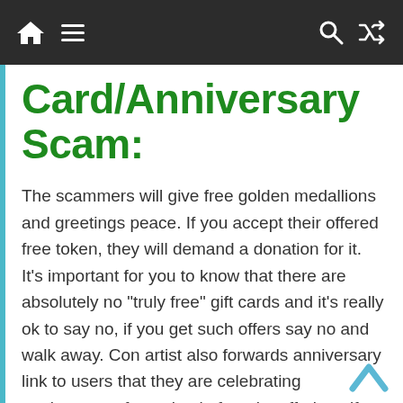[Navigation bar with home icon, menu, search, and shuffle icons]
Card/Anniversary Scam:
The scammers will give free golden medallions and greetings peace. If you accept their offered free token, they will demand a donation for it. It’s important for you to know that there are absolutely no “truly free” gift cards and it’s really ok to say no, if you get such offers say no and walk away. Con artist also forwards anniversary link to users that they are celebrating anniversary of certain platform by offering gift card links so beware of gift card/anniversary scam.
Job Scam: